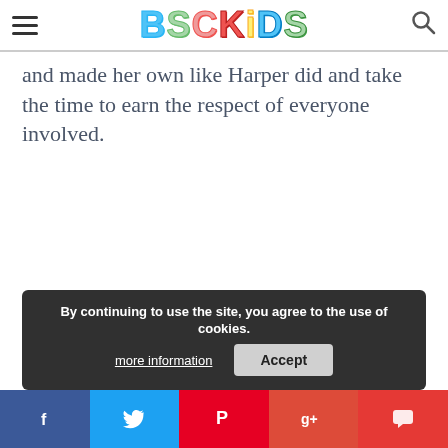BSCKiDS
and made her own like Harper did and take the time to earn the respect of everyone involved.
By continuing to use the site, you agree to the use of cookies. more information Accept